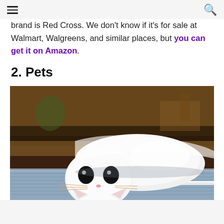Navigation header with menu and search icons
brand is Red Cross. We don't know if it's for sale at Walmart, Walgreens, and similar places, but you can get it on Amazon.
2. Pets
[Figure (photo): A white kitten lying on its back on a stack of light blue towels, looking upward at the camera with wide dark eyes, blurred warm-toned background with shelves.]